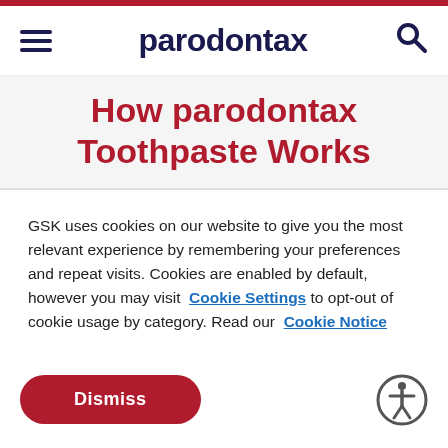parodontax
How parodontax Toothpaste Works
GSK uses cookies on our website to give you the most relevant experience by remembering your preferences and repeat visits. Cookies are enabled by default, however you may visit Cookie Settings to opt-out of cookie usage by category. Read our Cookie Notice
Dismiss